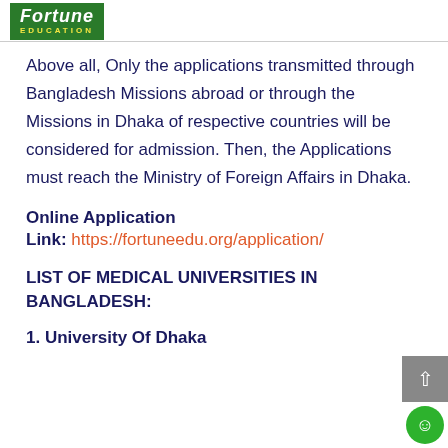Fortune Education
Above all, Only the applications transmitted through Bangladesh Missions abroad or through the Missions in Dhaka of respective countries will be considered for admission. Then, the Applications must reach the Ministry of Foreign Affairs in Dhaka.
Online Application
Link: https://fortuneedu.org/application/
LIST OF MEDICAL UNIVERSITIES IN BANGLADESH:
1. University Of Dhaka